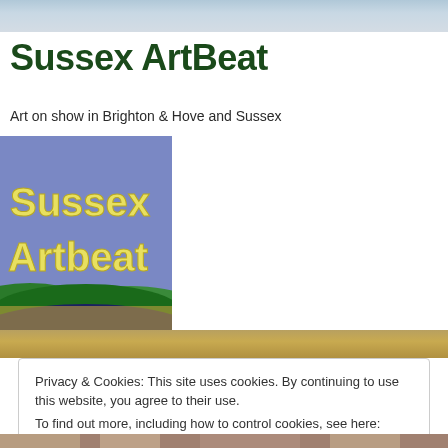Sussex ArtBeat
Art on show in Brighton & Hove and Sussex
[Figure (logo): Sussex Artbeat logo with yellow bold text on blue/purple background with rolling green hills]
[Figure (photo): Wheat/grain field background strip]
Privacy & Cookies: This site uses cookies. By continuing to use this website, you agree to their use.
To find out more, including how to control cookies, see here: Cookie Policy
Close and accept